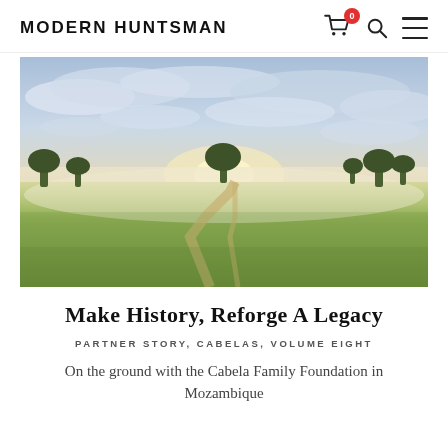MODERN HUNTSMAN
[Figure (photo): Misty African savanna landscape at dawn with a dirt track winding through green grassland, scattered trees, and a dramatic cloudy sky with golden sunrise light]
Make History, Reforge A Legacy
PARTNER STORY, CABELAS, VOLUME EIGHT
On the ground with the Cabela Family Foundation in Mozambique